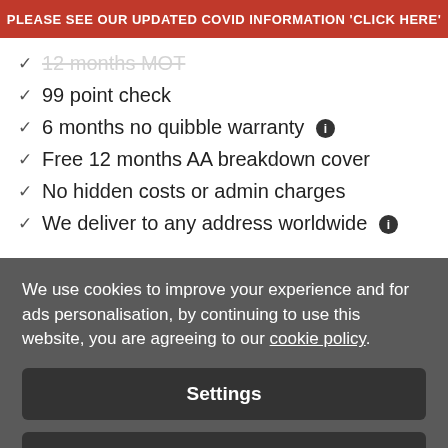PLEASE SEE OUR UPDATED COVID INFORMATION 'CLICK HERE'
12 months MOT
99 point check
6 months no quibble warranty
Free 12 months AA breakdown cover
No hidden costs or admin charges
We deliver to any address worldwide
We use cookies to improve your experience and for ads personalisation, by continuing to use this website, you are agreeing to our cookie policy.
Settings
Accept all